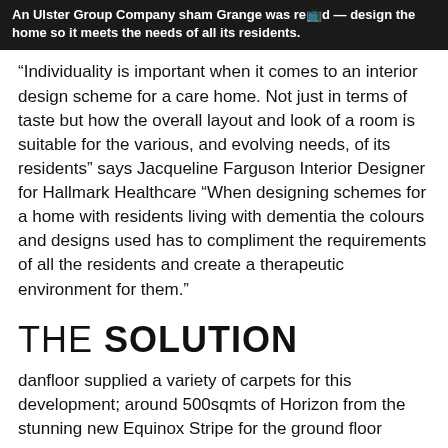An Ulster Group Company sham Grange was re[tv]d [—] design the home so it meets the needs of all its residents.
“Individuality is important when it comes to an interior design scheme for a care home. Not just in terms of taste but how the overall layout and look of a room is suitable for the various, and evolving needs, of its residents” says Jacqueline Farguson Interior Designer for Hallmark Healthcare “When designing schemes for a home with residents living with dementia the colours and designs used has to compliment the requirements of all the residents and create a therapeutic environment for them.”
THE SOLUTION
danfloor supplied a variety of carpets for this development; around 500sqmts of Horizon from the stunning new Equinox Stripe for the ground floor